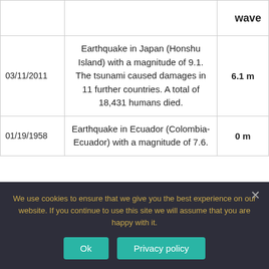|  | Description | wave |
| --- | --- | --- |
| 03/11/2011 | Earthquake in Japan (Honshu Island) with a magnitude of 9.1. The tsunami caused damages in 11 further countries. A total of 18,431 humans died. | 6.1 m |
| 01/19/1958 | Earthquake in Ecuador (Colombia-Ecuador) with a magnitude of 7.6. | 0 m |
Are earthquakes common in Ecuador?
We use cookies to ensure that we give you the best experience on our website. If you continue to use this site we will assume that you are happy with it.